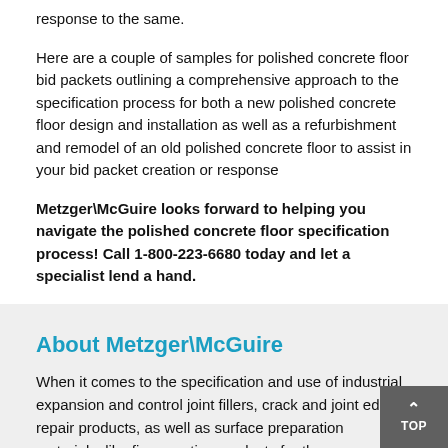response to the same.
Here are a couple of samples for polished concrete floor bid packets outlining a comprehensive approach to the specification process for both a new polished concrete floor design and installation as well as a refurbishment and remodel of an old polished concrete floor to assist in your bid packet creation or response
Metzger\McGuire looks forward to helping you navigate the polished concrete floor specification process! Call 1-800-223-6680 today and let a specialist lend a hand.
About Metzger\McGuire
When it comes to the specification and use of industrial expansion and control joint fillers, crack and joint edge repair products, as well as surface preparation materials, like fine grouting products for the construction, repair, and maintenance of polished concrete floors, including those stained and colored, Metzger/McGuire has been setting the